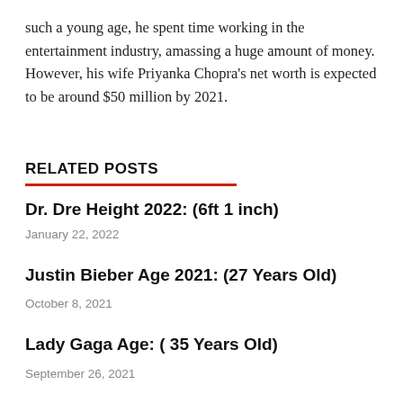such a young age, he spent time working in the entertainment industry, amassing a huge amount of money. However, his wife Priyanka Chopra's net worth is expected to be around $50 million by 2021.
RELATED POSTS
Dr. Dre Height 2022: (6ft 1 inch)
January 22, 2022
Justin Bieber Age 2021: (27 Years Old)
October 8, 2021
Lady Gaga Age: ( 35 Years Old)
September 26, 2021